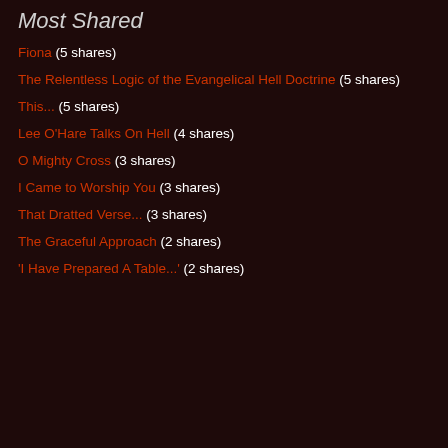Most Shared
Fiona (5 shares)
The Relentless Logic of the Evangelical Hell Doctrine (5 shares)
This... (5 shares)
Lee O'Hare Talks On Hell (4 shares)
O Mighty Cross (3 shares)
I Came to Worship You (3 shares)
That Dratted Verse... (3 shares)
The Graceful Approach (2 shares)
'I Have Prepared A Table...' (2 shares)